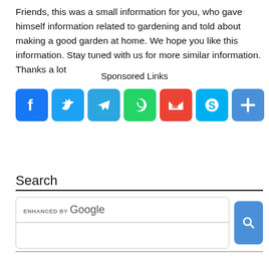Friends, this was a small information for you, who gave himself information related to gardening and told about making a good garden at home. We hope you like this information. Stay tuned with us for more similar information. Thanks a lot
Sponsored Links
[Figure (infographic): Row of social media sharing icons: Facebook (blue), Twitter (blue), Telegram (blue), WhatsApp (green), Gmail (red/white), Skype (teal), and a generic share button (blue)]
Search
[Figure (screenshot): Google enhanced search widget with a search input box and a blue search button with magnifying glass icon]